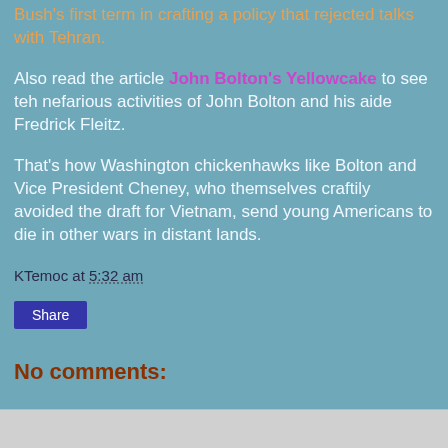Bush's first term in crafting a policy that rejected talks with Tehran.
Also read the article John Bolton's Yellowcake to see teh nefarious activities of John Bolton and his aide Fredrick Fleitz.
That's how Washington chickenhawks like Bolton and Vice President Cheney, who themselves craftily avoided the draft for Vietnam, send young Americans to die in other wars in distant lands.
KTemoc at 5:32 am
Share
No comments:
Post a Comment